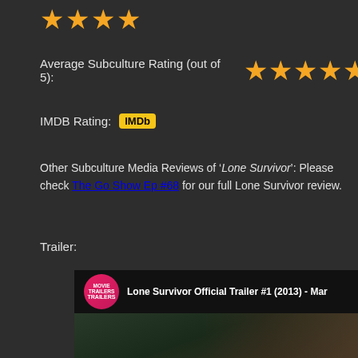[Figure (other): Four orange star rating icons at top left]
Average Subculture Rating (out of 5): [4.5 stars]
IMDB Rating: IMDb
Other Subculture Media Reviews of 'Lone Survivor': Please check The Go Show Ep #68 for our full Lone Survivor review.
Trailer:
[Figure (screenshot): YouTube video thumbnail for 'Lone Survivor Official Trailer #1 (2013) - Mar...' with Trailers channel logo, play button, TRAILER text overlay, and HD badge]